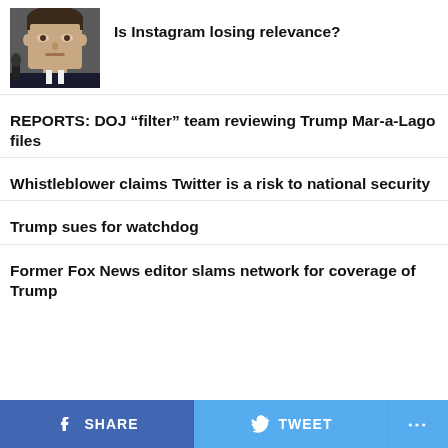[Figure (photo): Photo of Mark Zuckerberg at a congressional hearing, wearing a suit, with a microphone visible]
Is Instagram losing relevance?
REPORTS: DOJ “filter” team reviewing Trump Mar-a-Lago files
Whistleblower claims Twitter is a risk to national security
Trump sues for watchdog
Former Fox News editor slams network for coverage of Trump
f SHARE   TWEET   ...